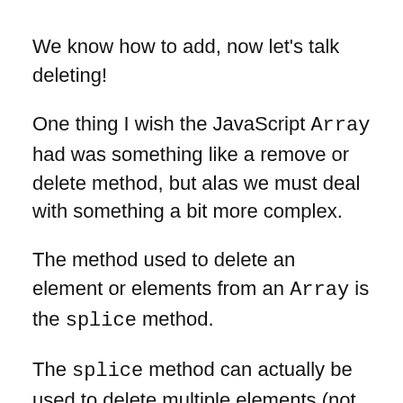We know how to add, now let's talk deleting!
One thing I wish the JavaScript Array had was something like a remove or delete method, but alas we must deal with something a bit more complex.
The method used to delete an element or elements from an Array is the splice method.
The splice method can actually be used to delete multiple elements (not just one),